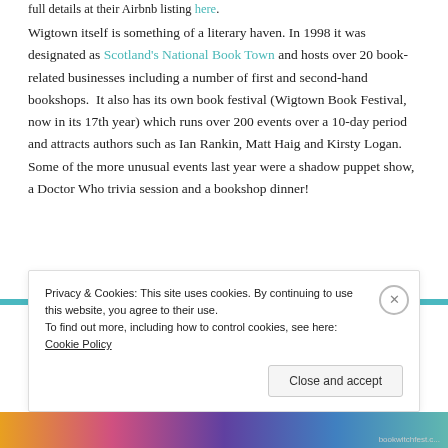full details at their Airbnb listing here.
Wigtown itself is something of a literary haven. In 1998 it was designated as Scotland's National Book Town and hosts over 20 book-related businesses including a number of first and second-hand bookshops.  It also has its own book festival (Wigtown Book Festival, now in its 17th year) which runs over 200 events over a 10-day period and attracts authors such as Ian Rankin, Matt Haig and Kirsty Logan. Some of the more unusual events last year were a shadow puppet show, a Doctor Who trivia session and a bookshop dinner!
Privacy & Cookies: This site uses cookies. By continuing to use this website, you agree to their use.
To find out more, including how to control cookies, see here: Cookie Policy
Close and accept